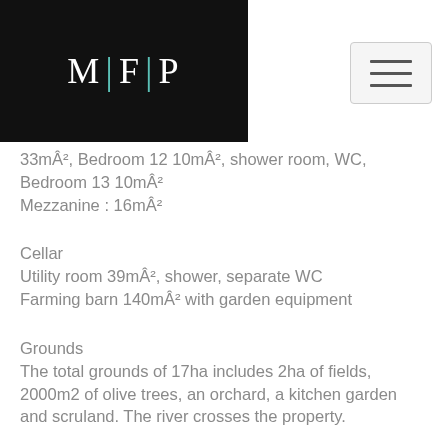[Figure (logo): MFP logo - white letters M|F|P with teal pipe separators on black background]
33mÂ², Bedroom 12 10mÂ², shower room, WC, Bedroom 13 10mÂ²
Mezzanine : 16mÂ²
Cellar
Utility room 39mÂ², shower, separate WC
Farming barn 140mÂ² with garden equipment
Grounds
The total grounds of 17ha includes 2ha of fields, 2000m2 of olive trees, an orchard, a kitchen garden and scruland. The river crosses the property.
General condition
This Water Mill is in perfect order and is well-maintained inside and out. The central heating is a heat pump cycling pump, except the sitting room which is